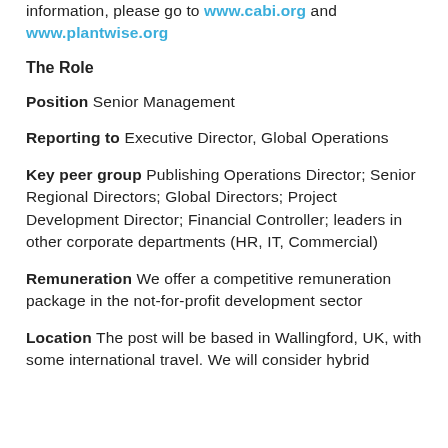information, please go to www.cabi.org and www.plantwise.org
The Role
Position Senior Management
Reporting to Executive Director, Global Operations
Key peer group Publishing Operations Director; Senior Regional Directors; Global Directors; Project Development Director; Financial Controller; leaders in other corporate departments (HR, IT, Commercial)
Remuneration We offer a competitive remuneration package in the not-for-profit development sector
Location The post will be based in Wallingford, UK, with some international travel. We will consider hybrid